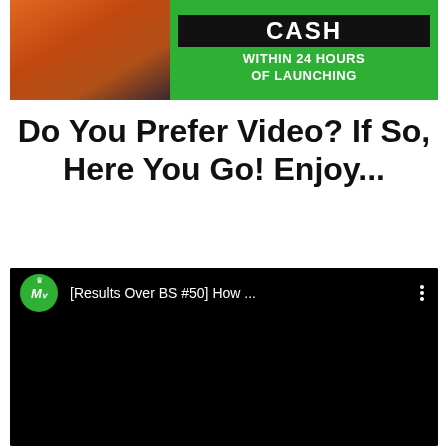[Figure (photo): Advertisement banner showing a person in orange patterned clothing on the left and green panel on the right with black bar saying CASH and text WITHIN 24 HOURS OF LAUNCHING]
Do You Prefer Video? If So, Here You Go! Enjoy...
[Figure (screenshot): YouTube video embed showing channel icon MR with crown in green circle, video title [Results Over BS #50] How ..., three-dot menu, and black video frame]